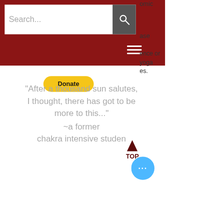[Figure (screenshot): Website header with dark red background containing a search bar with placeholder text 'Search...' and a search icon button, a hamburger menu icon, and a yellow Donate button. Partial text visible on right: 'omic', 'ase', 'ence or', 'yoga', 'es.']
"After a thousand sun salutes, I thought, there has got to be more to this..." ~a former chakra intensive student